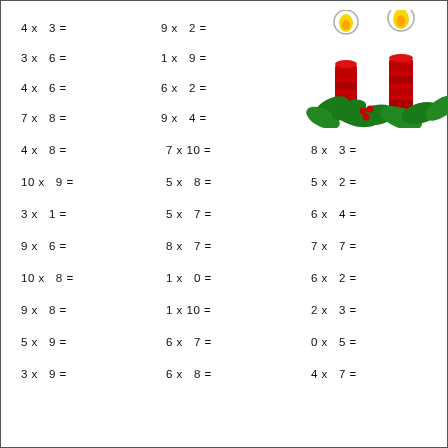4 x  3 =
9 x  2 =
3 x  6 =
1 x  9 =
4 x  6 =
6 x  2 =
7 x  8 =
9 x  4 =
[Figure (illustration): Two red Christmas candles with yellow flames and holly leaves decoration]
4 x  8 =
7 x 10 =
8 x  3 =
10 x  9 =
5 x  8 =
5 x  2 =
3 x  1 =
5 x  7 =
6 x  4 =
9 x  6 =
8 x  7 =
7 x  7 =
10 x  8 =
1 x  0 =
6 x  2 =
9 x  8 =
1 x 10 =
2 x  3 =
5 x  9 =
6 x  7 =
0 x  5 =
3 x  9 =
6 x  8 =
4 x  7 =